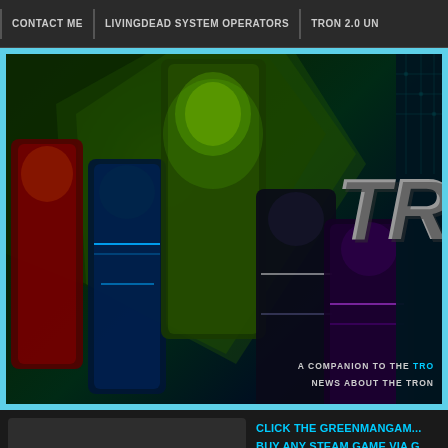CONTACT ME | LIVINGDEAD SYSTEM OPERATORS | TRON 2.0 UN...
[Figure (screenshot): Tron 2.0 website hero banner showing game characters on left with green glow effect, and TRON logo text on dark teal right side. Text reads: A COMPANION TO THE TRO... NEWS ABOUT THE TRON]
[Figure (logo): Green Man Gaming logo: green alien/ghost icon with white text 'green man gaming' and green underline bar]
Click the GreenManGaming buy any Steam game via c link, and help suppor